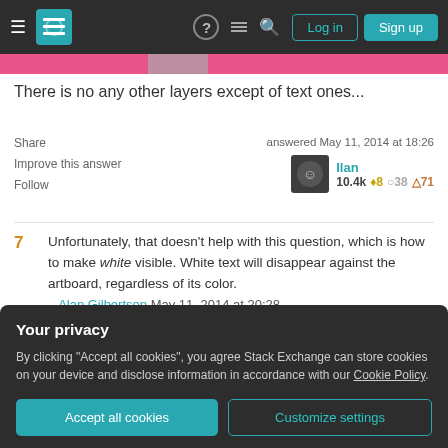Stack Exchange navigation bar with Log in and Sign up buttons
There is no any other layers except of text ones...
Share   Improve this answer   Follow
answered May 11, 2014 at 18:26  Ilan  10.4k ◇8 ○38 △71
7  Unfortunately, that doesn't help with this question, which is how to make white visible. White text will disappear against the artboard, regardless of its color. – Alan Gilbertson May 11, 2014 at 20:28
Your privacy
By clicking "Accept all cookies", you agree Stack Exchange can store cookies on your device and disclose information in accordance with our Cookie Policy.
Accept all cookies   Customize settings